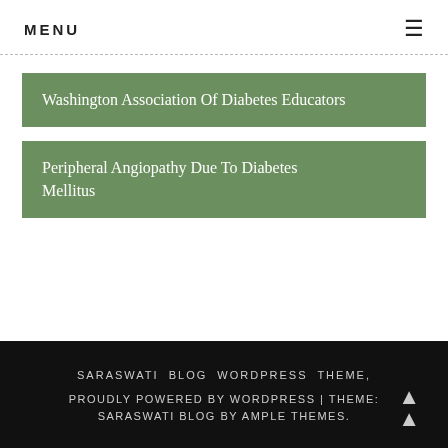MENU ☰
Washington Association Of Diabetes Educators
Peripheral Angiopathy Due To Diabetes Mellitus
SARASWATI BLOG WORDPRESS THEME, PROUDLY POWERED BY WORDPRESS | THEME: SARASWATI BLOG BY AMPLE THEMES.